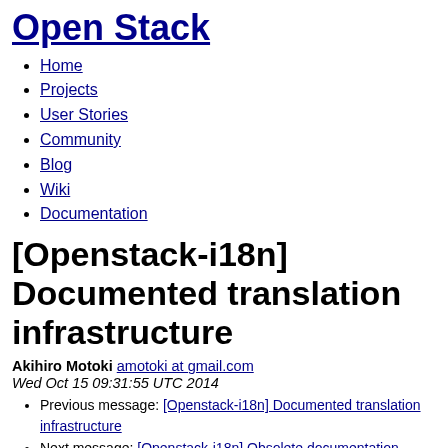Open Stack
Home
Projects
User Stories
Community
Blog
Wiki
Documentation
[Openstack-i18n] Documented translation infrastructure
Akihiro Motoki amotoki at gmail.com
Wed Oct 15 09:31:55 UTC 2014
Previous message: [Openstack-i18n] Documented translation infrastructure
Next message: [Openstack-i18n] Obsolete documentation resources
Messages sorted by: [ date ] [ thread ] [ subject ] [ author ]